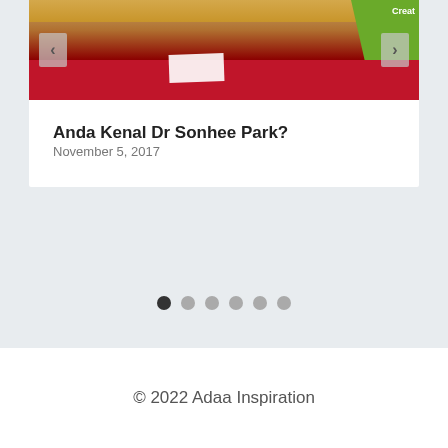[Figure (photo): A photo of people at a red-draped table with a green banner in the background and navigation arrows on the sides]
Anda Kenal Dr Sonhee Park?
November 5, 2017
[Figure (infographic): Carousel navigation dots: 6 dots, first one active (dark), rest gray]
© 2022 Adaa Inspiration